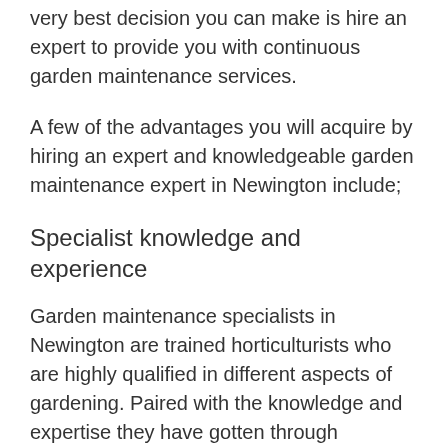very best decision you can make is hire an expert to provide you with continuous garden maintenance services.
A few of the advantages you will acquire by hiring an expert and knowledgeable garden maintenance expert in Newington include;
Specialist knowledge and experience
Garden maintenance specialists in Newington are trained horticulturists who are highly qualified in different aspects of gardening. Paired with the knowledge and expertise they have gotten through experience, they are able to determine the best plants for your garden. They will be able to help you in identifying the topological and